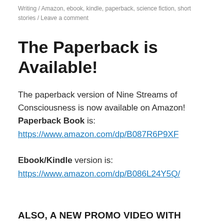Writing / Amazon, ebook, kindle, paperback, science fiction, short stories / Leave a comment
The Paperback is Available!
The paperback version of Nine Streams of Consciousness is now available on Amazon! Paperback Book is: https://www.amazon.com/dp/B087R6P9XF

Ebook/Kindle version is: https://www.amazon.com/dp/B086L24Y5Q/
ALSO, A NEW PROMO VIDEO WITH